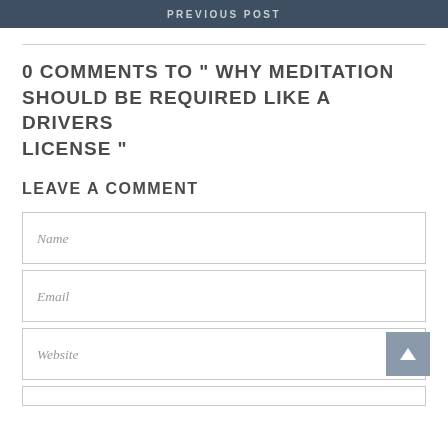PREVIOUS POST
0 COMMENTS TO "WHY MEDITATION SHOULD BE REQUIRED LIKE A DRIVERS LICENSE"
LEAVE A COMMENT
Name
Email
Website